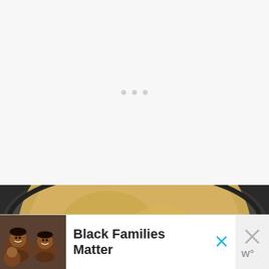[Figure (other): Loading placeholder with three small grey dots centered on a light grey/white background]
[Figure (photo): Overhead close-up photo of a food processor bowl containing golden-tan powder (ground graham crackers or similar) surrounding a white plastic center hub, on a dark background]
[Figure (photo): Advertisement banner showing a smiling family (Black Families Matter) with a close button (X) and brand logo]
Black Families Matter